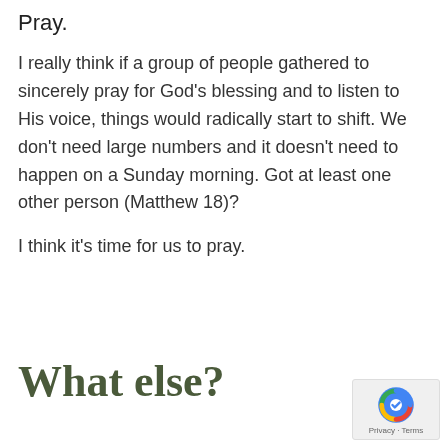Pray.
I really think if a group of people gathered to sincerely pray for God’s blessing and to listen to His voice, things would radically start to shift. We don’t need large numbers and it doesn’t need to happen on a Sunday morning. Got at least one other person (Matthew 18)?
I think it’s time for us to pray.
What else?
[Figure (logo): Google reCAPTCHA logo with Privacy and Terms links]